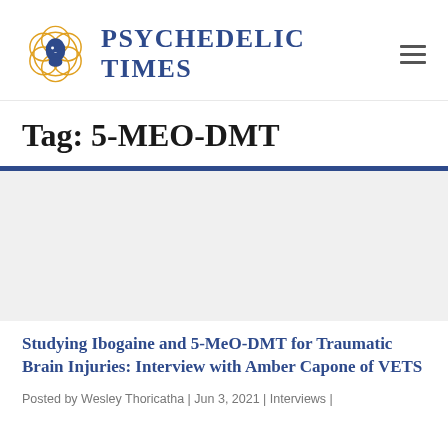Psychedelic Times
Tag: 5-MEO-DMT
Studying Ibogaine and 5-MeO-DMT for Traumatic Brain Injuries: Interview with Amber Capone of VETS
Posted by Wesley Thoricatha | Jun 3, 2021 | Interviews |